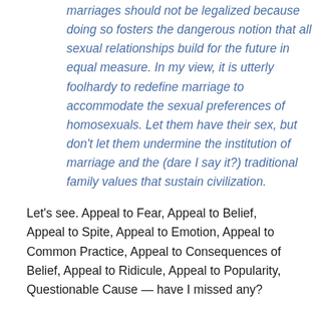marriages should not be legalized because doing so fosters the dangerous notion that all sexual relationships build for the future in equal measure. In my view, it is utterly foolhardy to redefine marriage to accommodate the sexual preferences of homosexuals. Let them have their sex, but don't let them undermine the institution of marriage and the (dare I say it?) traditional family values that sustain civilization.
Let's see. Appeal to Fear, Appeal to Belief, Appeal to Spite, Appeal to Emotion, Appeal to Common Practice, Appeal to Consequences of Belief, Appeal to Ridicule, Appeal to Popularity, Questionable Cause — have I missed any?
Do I believe in separation of church and state? Yes – in the sense that we should not have a theocracy and